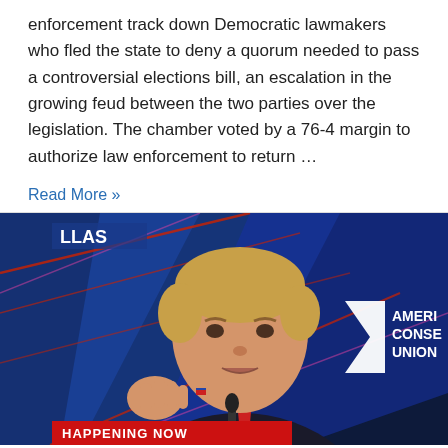enforcement track down Democratic lawmakers who fled the state to deny a quorum needed to pass a controversial elections bill, an escalation in the growing feud between the two parties over the legislation. The chamber voted by a 76-4 margin to authorize law enforcement to return …
Read More »
[Figure (photo): Television broadcast screenshot showing a man in a dark suit with a red tie speaking at a podium with a microphone, with a blue geometric background and partial text 'AMERI CONSE UNION' visible on a white logo at right, lower-third graphic reading 'HAPPENING NOW' in red, and upper-left text 'LLAS' in white.]